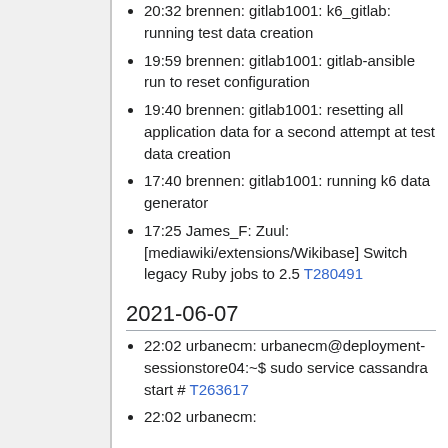20:32 brennen: gitlab1001: k6_gitlab: running test data creation
19:59 brennen: gitlab1001: gitlab-ansible run to reset configuration
19:40 brennen: gitlab1001: resetting all application data for a second attempt at test data creation
17:40 brennen: gitlab1001: running k6 data generator
17:25 James_F: Zuul: [mediawiki/extensions/Wikibase] Switch legacy Ruby jobs to 2.5 T280491
2021-06-07
22:02 urbanecm: urbanecm@deployment-sessionstore04:~$ sudo service cassandra start # T263617
22:02 urbanecm: